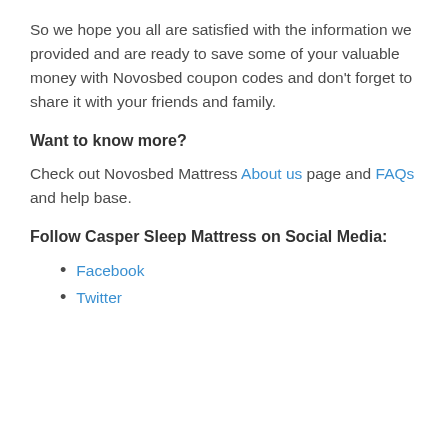So we hope you all are satisfied with the information we provided and are ready to save some of your valuable money with Novosbed coupon codes and don't forget to share it with your friends and family.
Want to know more?
Check out Novosbed Mattress About us page and FAQs and help base.
Follow Casper Sleep Mattress on Social Media:
Facebook
Twitter